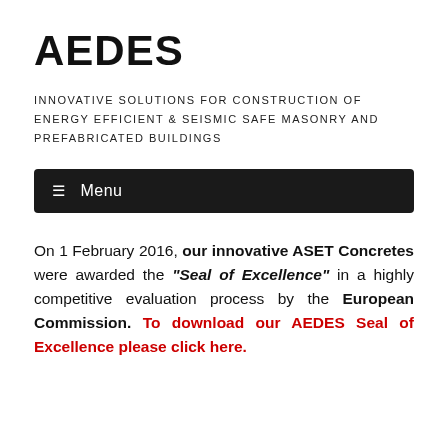AEDES
INNOVATIVE SOLUTIONS FOR CONSTRUCTION OF ENERGY EFFICIENT & SEISMIC SAFE MASONRY AND PREFABRICATED BUILDINGS
☰ Menu
On 1 February 2016, our innovative ASET Concretes were awarded the "Seal of Excellence" in a highly competitive evaluation process by the European Commission. To download our AEDES Seal of Excellence please click here.